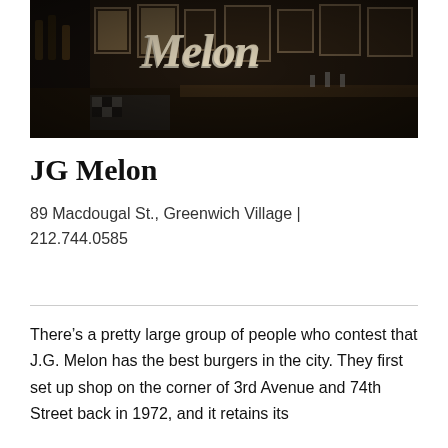[Figure (photo): Interior photo of JG Melon restaurant showing dark ambiance with a neon/painted 'Melon' script sign, framed pictures on walls, bar seating, checkered tablecloths, with warm lighting.]
JG Melon
89 Macdougal St., Greenwich Village | 212.744.0585
There’s a pretty large group of people who contest that J.G. Melon has the best burgers in the city. They first set up shop on the corner of 3rd Avenue and 74th Street back in 1972, and it retains its